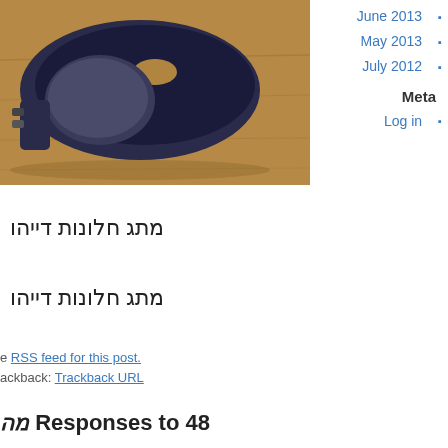[Figure (photo): Photo of a dark blue/navy car side mirror on a wooden surface background]
June 2013 ▪
May 2013 ▪
July 2012 ▪
Meta
Log in ▪
מתג חלונות דייהו
מתג חלונות דייהו
e RSS feed for this post.
ackback: Trackback URL
מה Responses to 48